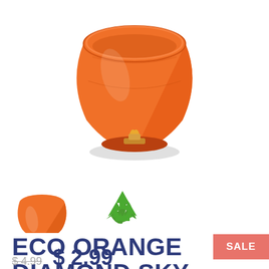[Figure (photo): Orange diamond sky lantern floating, shown from below with a yellow flame wick visible at the bottom opening. White background with a subtle shadow ellipse below.]
[Figure (photo): Small thumbnail of orange diamond sky lantern, folded/packaged view. White background.]
[Figure (illustration): Green recycling symbol with 'BIODEGRADABLE' text below in green.]
ECO ORANGE DIAMOND SKY LANTERNS (WIRE-FREE)
SALE
$ 4.99   $ 2.99